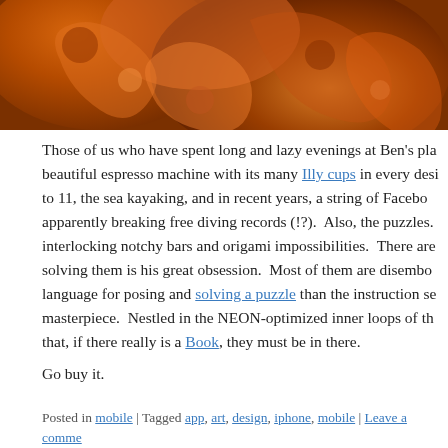[Figure (photo): Orange fractal swirling pattern image at the top of the page]
Those of us who have spent long and lazy evenings at Ben's pla beautiful espresso machine with its many Illy cups in every desi to 11, the sea kayaking, and in recent years, a string of Facebo apparently breaking free diving records (!?).  Also, the puzzles. interlocking notchy bars and origami impossibilities.  There are solving them is his great obsession.  Most of them are disembo language for posing and solving a puzzle than the instruction se masterpiece.  Nestled in the NEON-optimized inner loops of th that, if there really is a Book, they must be in there.
Go buy it.
Posted in mobile | Tagged app, art, design, iphone, mobile | Leave a comme